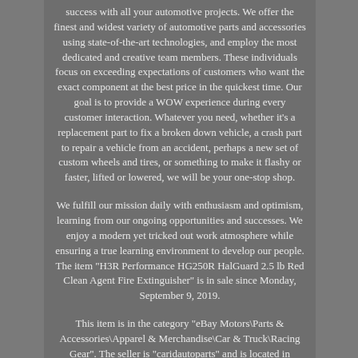success with all your automotive projects. We offer the finest and widest variety of automotive parts and accessories using state-of-the-art technologies, and employ the most dedicated and creative team members. These individuals focus on exceeding expectations of customers who want the exact component at the best price in the quickest time. Our goal is to provide a WOW experience during every customer interaction. Whatever you need, whether it's a replacement part to fix a broken down vehicle, a crash part to repair a vehicle from an accident, perhaps a new set of custom wheels and tires, or something to make it flashy or faster, lifted or lowered, we will be your one-stop shop.
We fulfill our mission daily with enthusiasm and optimism, learning from our ongoing opportunities and successes. We enjoy a modern yet tricked out work atmosphere while ensuring a true learning environment to develop our people. The item "H3R Performance HG250R HalGuard 2.5 lb Red Clean Agent Fire Extinguisher" is in sale since Monday, September 9, 2019.
This item is in the category "eBay Motors\Parts & Accessories\Apparel & Merchandise\Car & Truck\Racing Gear". The seller is "caridautoparts" and is located in Miami, Florida. This item can be shipped to United States.
Brand: H3R Performance Manufacturer Part Number: HG250R Other Part Number: 1283859543 Product Type: Racing Gear Product SubType: Racing Extinguishers UPC: 856991001065 Volume: 2.5 lb Types: Extinguisher Series: HalGuard Finish: